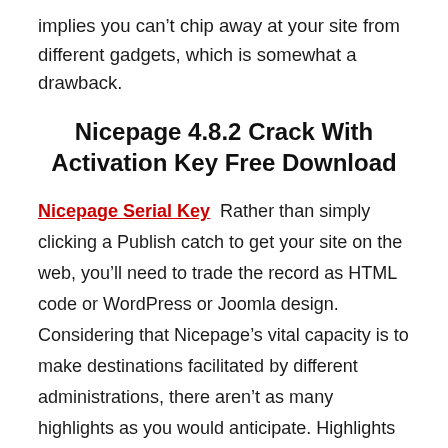implies you can't chip away at your site from different gadgets, which is somewhat a drawback.
Nicepage 4.8.2 Crack With Activation Key Free Download
Nicepage Serial Key  Rather than simply clicking a Publish catch to get your site on the web, you'll need to trade the record as HTML code or WordPress or Joomla design. Considering that Nicepage's vital capacity is to make destinations facilitated by different administrations, there aren't as many highlights as you would anticipate. Highlights like online business apparatuses, applications and reconciliations, video transferring abilities, and showcasing and SEO instruments. For these, their is